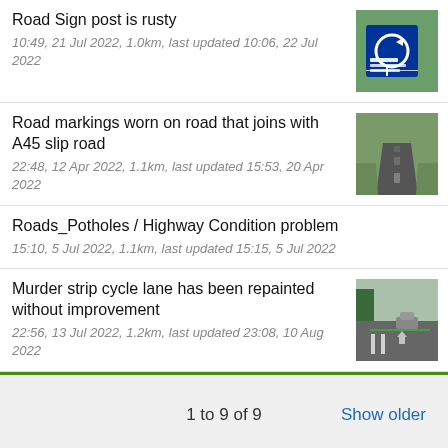Road Sign post is rusty
10:49, 21 Jul 2022, 1.0km, last updated 10:06, 22 Jul 2022
Road markings worn on road that joins with A45 slip road
22:48, 12 Apr 2022, 1.1km, last updated 15:53, 20 Apr 2022
Roads_Potholes / Highway Condition problem
15:10, 5 Jul 2022, 1.1km, last updated 15:15, 5 Jul 2022
Murder strip cycle lane has been repainted without improvement
22:56, 13 Jul 2022, 1.2km, last updated 23:08, 10 Aug 2022
1 to 9 of 9
Show older